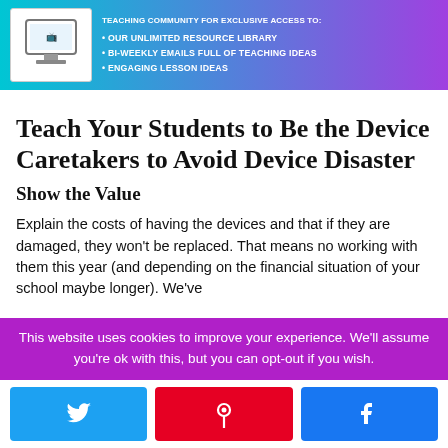[Figure (illustration): Banner with gradient background (teal to purple) showing a computer/teaching resource illustration and bullet points about joining a teaching community for exclusive access to: OUR UNLIMITED RESOURCE LIBRARY, BI-WEEKLY EMAILS FULL OF TEACHING IDEAS, ENGAGING LESSON IDEAS]
Teach Your Students to Be the Device Caretakers to Avoid Device Disaster
Show the Value
Explain the costs of having the devices and that if they are damaged, they won't be replaced. That means no working with them this year (and depending on the financial situation of your school maybe longer). We've
This website uses cookies to improve your experience. We'll assume you're ok with this, but you can opt-out if you wish.